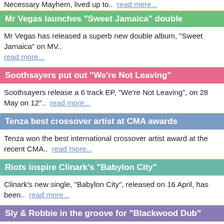Necessary Mayhem, lived up to..  read more...
Mr Vegas launches "Sweet Jamaica" double
Mr Vegas has released a superb new double album, "Sweet Jamaica" on MV.. read more...
Soothsayers put out "We're Not Leaving"
Soothsayers release a 6 track EP, "We're Not Leaving", on 28 May on 12"..  read more...
Tenza best crossover artist at CMA awards
Tenza won the best international crossover artist award at the recent CMA..  read more...
Riots inspire Clinark's "Babylon City"
Clinark's new single, "Babylon City", released on 16 April, has been..  read more...
Sly & Robbie in the groove for "Blackwood Dub"
The new album from Sly & Robbie,